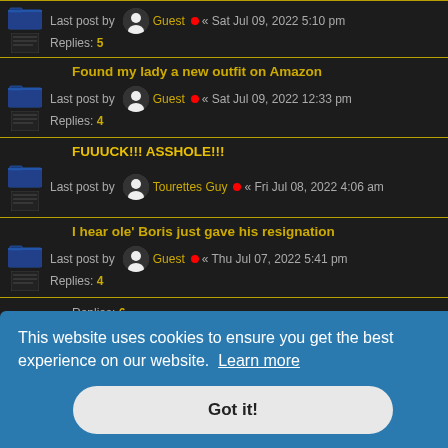Last post by Guest « Sat Jul 09, 2022 5:10 pm
Replies: 5
Found my lady a new outfit on Amazon
Last post by Guest « Sat Jul 09, 2022 12:33 pm
Replies: 4
FUUUCK!!! ASSHOLE!!!
Last post by Tourettes Guy « Fri Jul 08, 2022 4:06 am
I hear ole' Boris just gave his resignation
Last post by Guest « Thu Jul 07, 2022 5:41 pm
Replies: 4
Replies: 6
This website uses cookies to ensure you get the best experience on our website. Learn more
Got it!